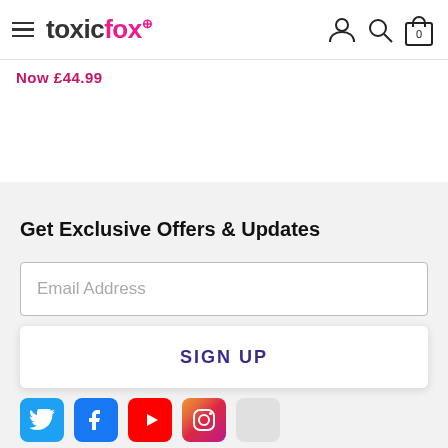toxicfox
Now £44.99
Get Exclusive Offers & Updates
Email Address
SIGN UP
[Figure (other): Social media icons row: Twitter, Facebook, YouTube, Instagram]